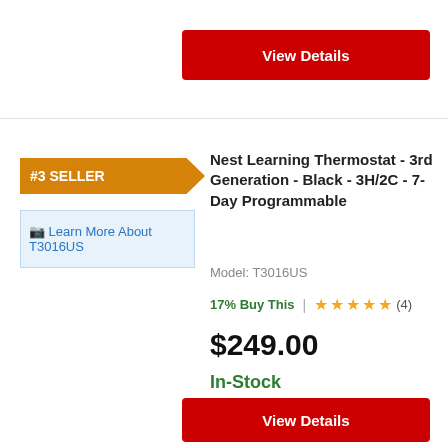[Figure (other): Red 'View Details' button at top of page]
[Figure (other): #3 SELLER orange ribbon badge]
[Figure (other): Learn More About T3016US image link box]
Nest Learning Thermostat - 3rd Generation - Black - 3H/2C - 7-Day Programmable
Model: T3016US
17% Buy This
(4)
$249.00
In-Stock
[Figure (other): Red 'View Details' button at bottom of page]